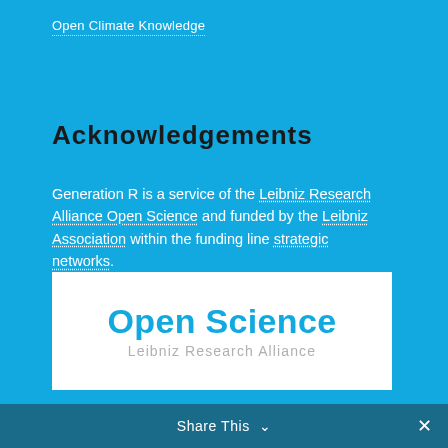Open Climate Knowledge
Acknowledgements
Generation R is a service of the Leibniz Research Alliance Open Science and funded by the Leibniz Association within the funding line strategic networks.
[Figure (logo): Open Science Leibniz Research Alliance logo on white background]
Share This ∨  ×